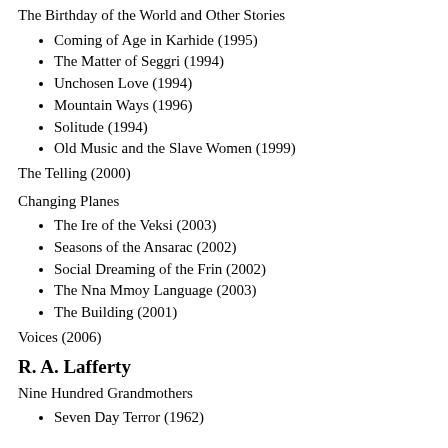The Birthday of the World and Other Stories
Coming of Age in Karhide (1995)
The Matter of Seggri (1994)
Unchosen Love (1994)
Mountain Ways (1996)
Solitude (1994)
Old Music and the Slave Women (1999)
The Telling (2000)
Changing Planes
The Ire of the Veksi (2003)
Seasons of the Ansarac (2002)
Social Dreaming of the Frin (2002)
The Nna Mmoy Language (2003)
The Building (2001)
Voices (2006)
R. A. Lafferty
Nine Hundred Grandmothers
Seven Day Terror (1962)